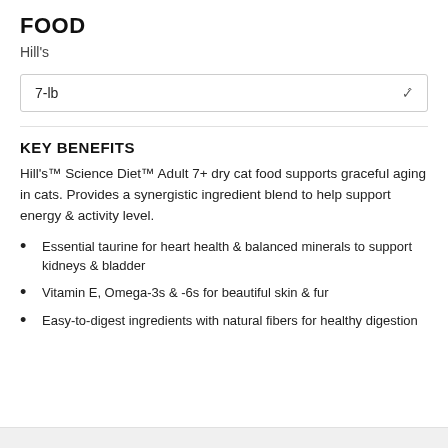FOOD
Hill's
7-lb
KEY BENEFITS
Hill's™ Science Diet™ Adult 7+ dry cat food supports graceful aging in cats. Provides a synergistic ingredient blend to help support energy & activity level.
Essential taurine for heart health & balanced minerals to support kidneys & bladder
Vitamin E, Omega-3s & -6s for beautiful skin & fur
Easy-to-digest ingredients with natural fibers for healthy digestion